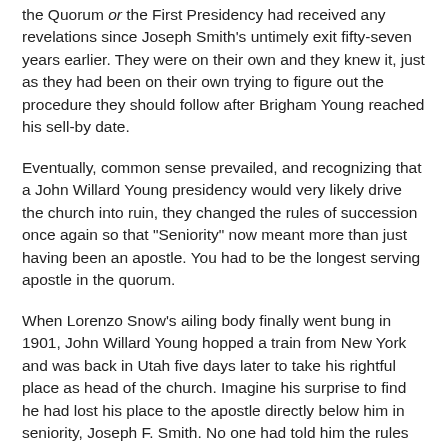the Quorum or the First Presidency had received any revelations since Joseph Smith's untimely exit fifty-seven years earlier. They were on their own and they knew it, just as they had been on their own trying to figure out the procedure they should follow after Brigham Young reached his sell-by date.
Eventually, common sense prevailed, and recognizing that a John Willard Young presidency would very likely drive the church into ruin, they changed the rules of succession once again so that "Seniority" now meant more than just having been an apostle. You had to be the longest serving apostle in the quorum.
When Lorenzo Snow's ailing body finally went bung in 1901, John Willard Young hopped a train from New York and was back in Utah five days later to take his rightful place as head of the church. Imagine his surprise to find he had lost his place to the apostle directly below him in seniority, Joseph F. Smith. No one had told him the rules had been changed, and daddy was no longer on the scene to throw his weight around. The Young family dynasty died right there along with